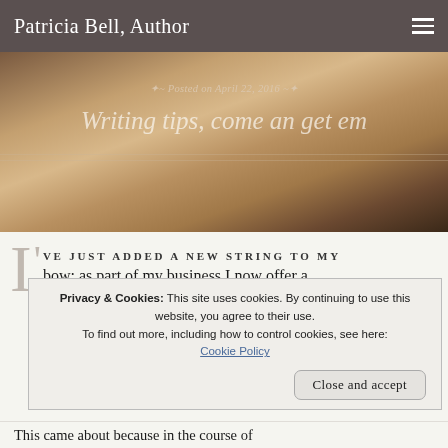Patricia Bell, Author
[Figure (photo): Close-up photograph of a blonde woman's hair and forehead, used as hero banner image with overlaid text 'Writing tips, come an get em' and 'Posted on April 22, 2016']
Writing tips, come an get em
I’VE JUST ADDED A NEW STRING TO MY bow: as part of my business I now offer a
Privacy & Cookies: This site uses cookies. By continuing to use this website, you agree to their use. To find out more, including how to control cookies, see here: Cookie Policy
This came about because in the course of